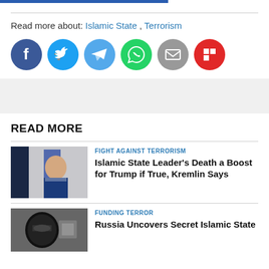Read more about: Islamic State , Terrorism
[Figure (infographic): Social media sharing icons: Facebook, Twitter, Telegram, WhatsApp, Email, Flipboard]
READ MORE
[Figure (photo): Man in suit with Russian flag background]
FIGHT AGAINST TERRORISM
Islamic State Leader's Death a Boost for Trump if True, Kremlin Says
[Figure (photo): Person in black balaclava]
FUNDING TERROR
Russia Uncovers Secret Islamic State